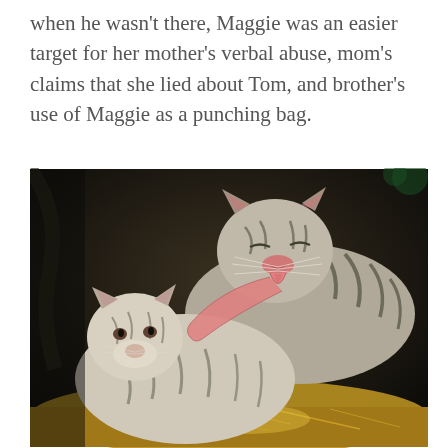when he wasn't there, Maggie was an easier target for her mother's verbal abuse, mom's claims that she lied about Tom, and brother's use of Maggie as a punching bag.
[Figure (photo): A large white tiger with dark stripes licking a smaller white tiger cub on its head, both resting on golden straw/hay. The background is dark.]